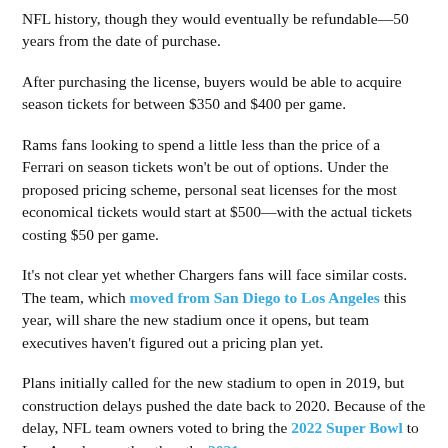NFL history, though they would eventually be refundable—50 years from the date of purchase.
After purchasing the license, buyers would be able to acquire season tickets for between $350 and $400 per game.
Rams fans looking to spend a little less than the price of a Ferrari on season tickets won't be out of options. Under the proposed pricing scheme, personal seat licenses for the most economical tickets would start at $500—with the actual tickets costing $50 per game.
It's not clear yet whether Chargers fans will face similar costs. The team, which moved from San Diego to Los Angeles this year, will share the new stadium once it opens, but team executives haven't figured out a pricing plan yet.
Plans initially called for the new stadium to open in 2019, but construction delays pushed the date back to 2020. Because of the delay, NFL team owners voted to bring the 2022 Super Bowl to Los Angeles—rather than the 2021 game, as